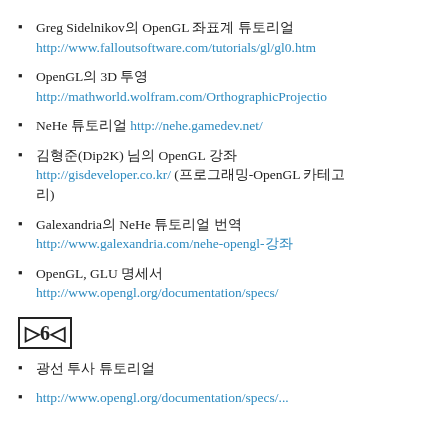Greg Sidelnikov의 OpenGL 좌표계 튜토리얼 http://www.falloutsoftware.com/tutorials/gl/gl0.htm
OpenGL의 3D 투영 http://mathworld.wolfram.com/OrthographicProjectio...
NeHe 튜토리얼 http://nehe.gamedev.net/
김형준(Dip2K) 님의 OpenGL 강좌 http://gisdeveloper.co.kr/ (프로그래밍-OpenGL 카테고리)
Galexandria의 NeHe 튜토리얼 번역 http://www.galexandria.com/nehe-opengl-강좌
OpenGL, GLU 명세서 http://www.opengl.org/documentation/specs/
▷6◁
광선 투사 튜토리얼
http://www.opengl.org/documentation/specs/...